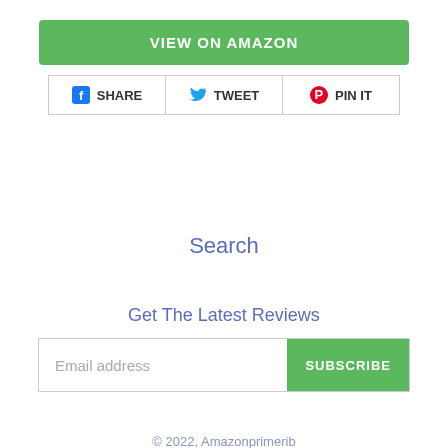VIEW ON AMAZON
SHARE   TWEET   PIN IT
Search
Get The Latest Reviews
Email address   SUBSCRIBE
© 2022, Amazonprimerib